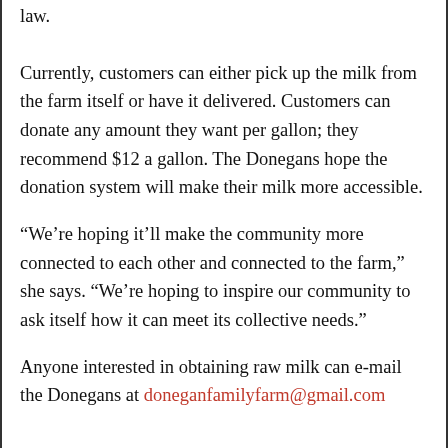law.
Currently, customers can either pick up the milk from the farm itself or have it delivered. Customers can donate any amount they want per gallon; they recommend $12 a gallon. The Donegans hope the donation system will make their milk more accessible.
“We’re hoping it’ll make the community more connected to each other and connected to the farm,” she says. “We’re hoping to inspire our community to ask itself how it can meet its collective needs.”
Anyone interested in obtaining raw milk can e-mail the Donegans at doneganfamilyfarm@gmail.com